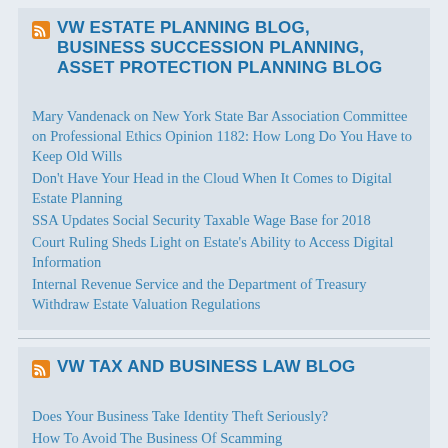VW ESTATE PLANNING BLOG, BUSINESS SUCCESSION PLANNING, ASSET PROTECTION PLANNING BLOG
Mary Vandenack on New York State Bar Association Committee on Professional Ethics Opinion 1182: How Long Do You Have to Keep Old Wills
Don't Have Your Head in the Cloud When It Comes to Digital Estate Planning
SSA Updates Social Security Taxable Wage Base for 2018
Court Ruling Sheds Light on Estate's Ability to Access Digital Information
Internal Revenue Service and the Department of Treasury Withdraw Estate Valuation Regulations
VW TAX AND BUSINESS LAW BLOG
Does Your Business Take Identity Theft Seriously?
How To Avoid The Business Of Scamming